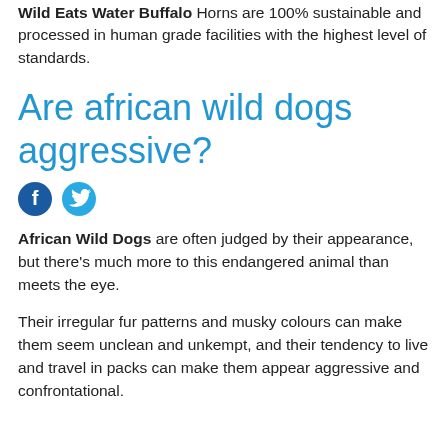Wild Eats Water Buffalo Horns are 100% sustainable and processed in human grade facilities with the highest level of standards.
Are african wild dogs aggressive?
[Figure (other): Social media share icons: Facebook (dark blue circle with f) and Twitter (light blue circle with bird)]
African Wild Dogs are often judged by their appearance, but there's much more to this endangered animal than meets the eye.
Their irregular fur patterns and musky colours can make them seem unclean and unkempt, and their tendency to live and travel in packs can make them appear aggressive and confrontational.